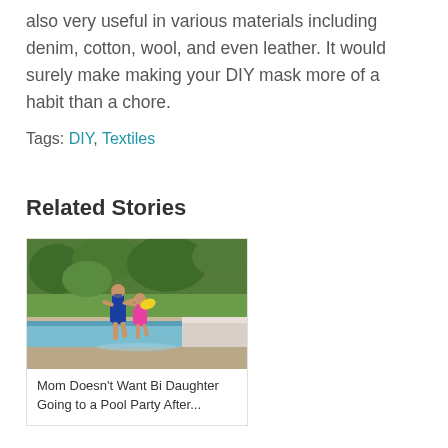also very useful in various materials including denim, cotton, wool, and even leather. It would surely make making your DIY mask more of a habit than a chore.
Tags: DIY, Textiles
Related Stories
[Figure (photo): Two girls in swimsuits running near a swimming pool with green trees in background]
Mom Doesn't Want Bi Daughter Going to a Pool Party After...